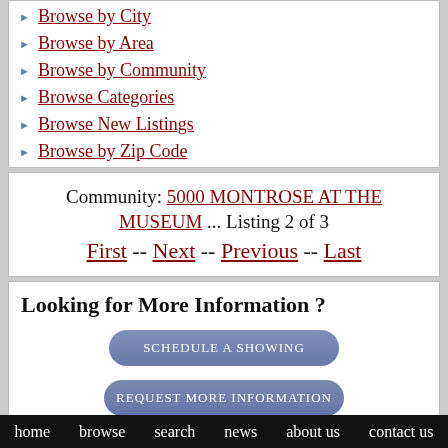Browse by City
Browse by Area
Browse by Community
Browse Categories
Browse New Listings
Browse by Zip Code
Community: 5000 MONTROSE AT THE MUSEUM ... Listing 2 of 3
First -- Next -- Previous -- Last
Looking for More Information ?
SCHEDULE A SHOWING
REQUEST MORE INFORMATION
home   browse   search   news   about us   contact us